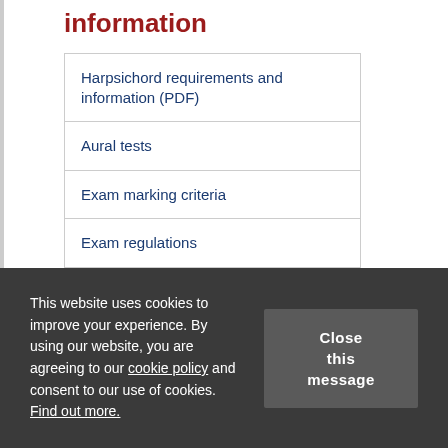information
Harpsichord requirements and information (PDF)
Aural tests
Exam marking criteria
Exam regulations
How to enter an exam
On the exam day
This website uses cookies to improve your experience. By using our website, you are agreeing to our cookie policy and consent to our use of cookies. Find out more.
Close this message